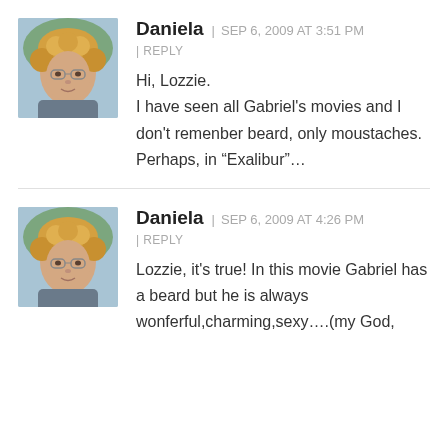[Figure (photo): Avatar photo of Daniela - woman with curly blonde hair and glasses]
Daniela | SEP 6, 2009 AT 3:51 PM
| REPLY

Hi, Lozzie.
I have seen all Gabriel's movies and I don't remenber beard, only moustaches. Perhaps, in “Exalibur”...
[Figure (photo): Avatar photo of Daniela - woman with curly blonde hair and glasses]
Daniela | SEP 6, 2009 AT 4:26 PM
| REPLY

Lozzie, it's true! In this movie Gabriel has a beard but he is always wonferful,charming,sexy....(my God,